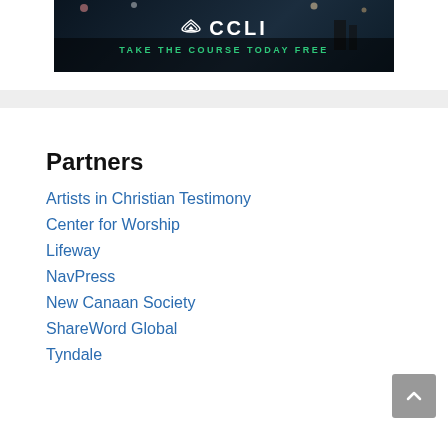[Figure (logo): CCLI advertisement banner with logo and 'TAKE THE COURSE TODAY FREE' tagline on dark background]
Partners
Artists in Christian Testimony
Center for Worship
Lifeway
NavPress
New Canaan Society
ShareWord Global
Tyndale